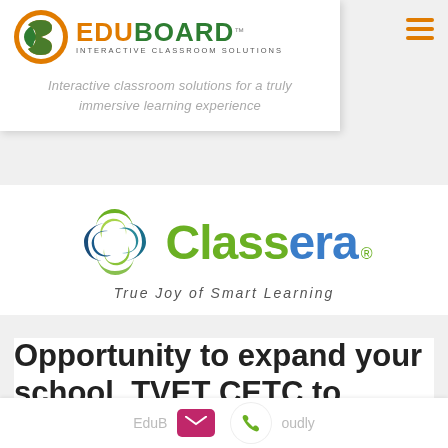[Figure (logo): Eduboard Interactive Classroom Solutions logo with circular B icon in orange and green, text EDUBOARD in orange and green, INTERACTIVE CLASSROOM SOLUTIONS tagline]
Interactive classroom solutions for a truly immersive learning experience
[Figure (logo): Classera logo with swirling blue and green circular icon, text Classera with registered trademark, tagline True Joy of Smart Learning]
Opportunity to expand your school, TVET CETC to include remote students.
EduB... oudly partnered with Classera to